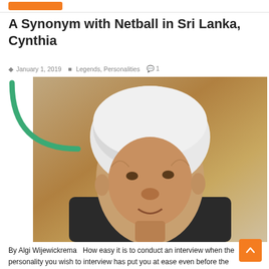A Synonym with Netball in Sri Lanka, Cynthia
January 1, 2019   Legends, Personalities   1
[Figure (photo): Elderly woman with white/grey hair, wearing a dark top, looking slightly to the side. A green decorative arc/bracket is visible in the upper left corner of the image area.]
By Algi Wijewickrema   How easy it is to conduct an interview when the personality you wish to interview has put you at ease even before the interview. That's what happened when I was looking to make an appointment to meet Cynthia Rasquinho (nee Earnst), netball's super